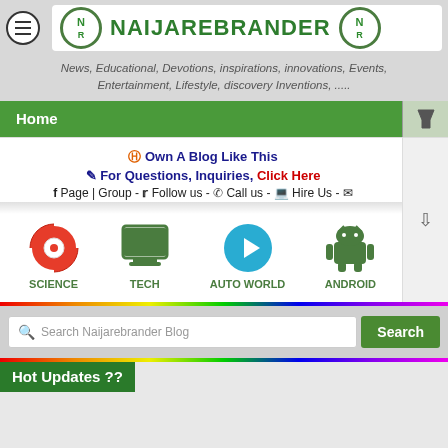[Figure (logo): NaijaRebrander website logo with circular NR emblems and green text]
News, Educational, Devotions, inspirations, innovations, Events, Entertainment, Lifestyle, discovery Inventions, .....
Home
Own A Blog Like This
For Questions, Inquiries, Click Here
Page | Group - Follow us - Call us - Hire Us -
[Figure (infographic): Four category icons: Science (Chrome icon), Tech (monitor icon), Auto World (Telegram icon), Android (Android robot icon)]
Search Naijarebrander Blog
Hot Updates ??